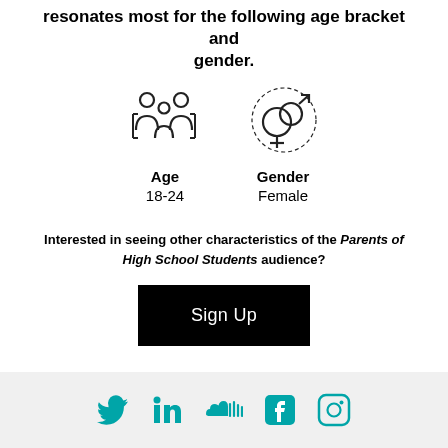resonates most for the following age bracket and gender.
[Figure (infographic): Two icons side by side: a family/group of people icon on the left, and a combined male/female gender symbol icon on the right, both in outline style.]
Age
18-24
Gender
Female
Interested in seeing other characteristics of the Parents of High School Students audience?
Sign Up
Social media icons: Twitter, LinkedIn, SoundCloud, Facebook, Instagram